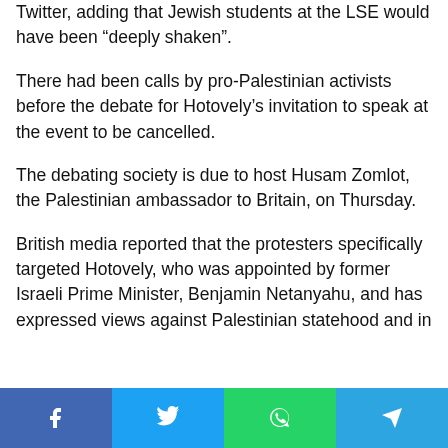Twitter, adding that Jewish students at the LSE would have been “deeply shaken”.
There had been calls by pro-Palestinian activists before the debate for Hotovely’s invitation to speak at the event to be cancelled.
The debating society is due to host Husam Zomlot, the Palestinian ambassador to Britain, on Thursday.
British media reported that the protesters specifically targeted Hotovely, who was appointed by former Israeli Prime Minister, Benjamin Netanyahu, and has expressed views against Palestinian statehood and in